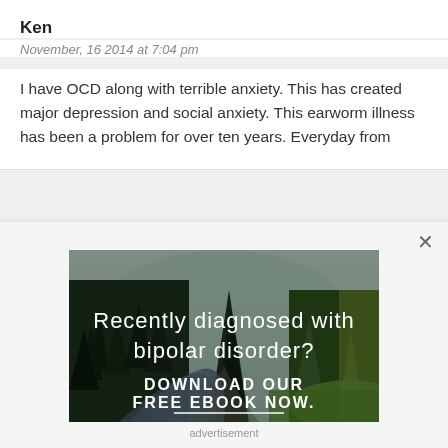Ken
November, 16 2014 at 7:04 pm
I have OCD along with terrible anxiety. This has created major depression and social anxiety. This earworm illness has been a problem for over ten years. Everyday from
[Figure (photo): Landscape photo of a forest with pine trees, a stream, and green meadow. Overlaid text reads 'Recently diagnosed with bipolar disorder?' and 'DOWNLOAD OUR FREE EBOOK NOW.' with a horizontal line beneath.]
advertisement